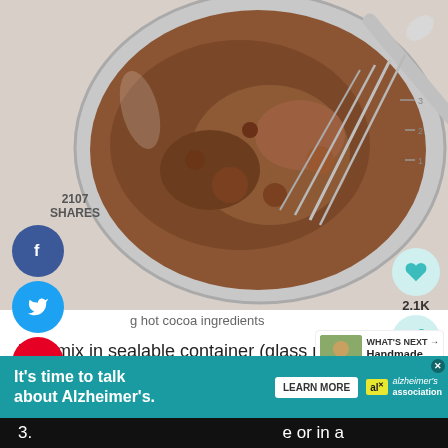[Figure (photo): Overhead view of chocolate/cocoa powder in a clear glass bowl with a metal whisk, on a white surface. The bowl shows measurement markings on its side.]
2107
SHARES
hot cocoa ingredients
[Figure (infographic): Social media share buttons sidebar: Facebook (blue), Twitter (cyan), Pinterest (red), Yummly (orange), Email (green)]
[Figure (infographic): Right side action buttons: heart/like button showing 2.1K, share button]
[Figure (infographic): WHAT'S NEXT → Handmade Christmas... thumbnail card]
lace mix in sealable container (glass ma work well) and store until ready to use.
[Figure (infographic): Advertisement banner: It's time to talk about Alzheimer's. LEARN MORE. Alzheimer's Association logo.]
3.